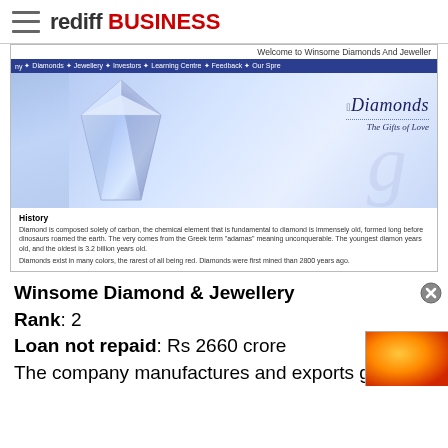rediff BUSINESS
[Figure (screenshot): Screenshot of Winsome Diamonds and Jewellery website showing diamond image, navigation bar with Diamonds, Jewellery, Investors, Learning Centre, Feedback, Our Spread links, and History section text about diamonds.]
Winsome Diamond & Jewellery
Rank: 2
Loan not repaid: Rs 2660 crore
The company manufactures and exports gold, sil